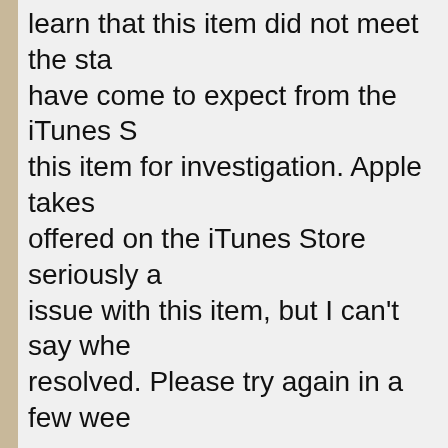learn that this item did not meet the standards you have come to expect from the iTunes Store. I flagged this item for investigation. Apple takes the quality offered on the iTunes Store seriously and will resolve the issue with this item, but I can't say when it will be resolved. Please try again in a few weeks.
I have reversed the charge for "Hugo". You'll see a credit of $5.04 in five to seven business days. You'll need to sign out of the iTunes Store and then sign back in once you see the credit in your account.
I certainly understand how recent difficulties can be frustrating for you. If I were in your situation, I would feel the same way.
Please do not hesitate to send us your feedback or clarifications with regard to your current concern or any queries that may arise in the future. Rest assured, I will personally make a move in order to better assist you.
I am looking forward to your response...